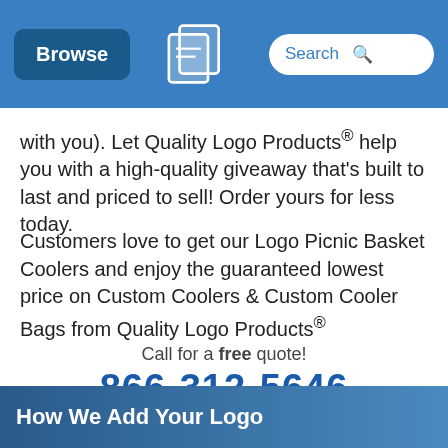Browse | [Quality Logo Products Logo] | Search
with you). Let Quality Logo Products® help you with a high-quality giveaway that's built to last and priced to sell! Order yours for less today.
Customers love to get our Logo Picnic Basket Coolers and enjoy the guaranteed lowest price on Custom Coolers & Custom Cooler Bags from Quality Logo Products®
Call for a free quote!
866-312-5646
How We Add Your Logo